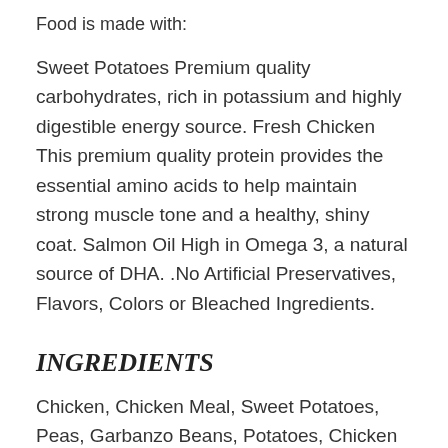Food is made with:
Sweet Potatoes Premium quality carbohydrates, rich in potassium and highly digestible energy source. Fresh Chicken This premium quality protein provides the essential amino acids to help maintain strong muscle tone and a healthy, shiny coat. Salmon Oil High in Omega 3, a natural source of DHA. .No Artificial Preservatives, Flavors, Colors or Bleached Ingredients.
INGREDIENTS
Chicken, Chicken Meal, Sweet Potatoes, Peas, Garbanzo Beans, Potatoes, Chicken Fat (preserved with mixed tocopherols), Flaxseed, Pea Fiber, Natural Flavor, Salmon Oil (preserved with mixed tocopherols), Salt, Dicalcium Phosphate, DL-Methionine, Potassium